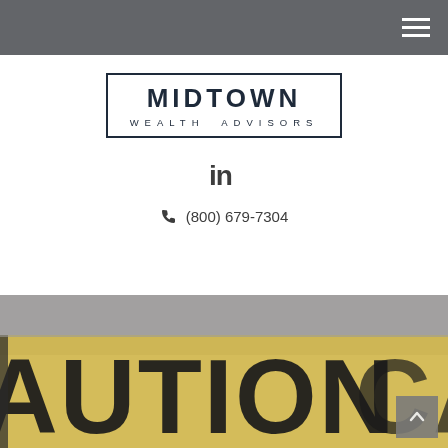Navigation bar with hamburger menu
[Figure (logo): Midtown Wealth Advisors logo with border box, large MIDTOWN text and WEALTH ADVISORS subtitle]
[Figure (illustration): LinkedIn icon (in)]
(800) 679-7304
[Figure (photo): Close-up photo of yellow caution tape with black letters reading CAUTION, blurred background]